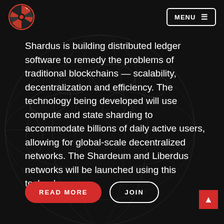[Figure (logo): Shardus circular logo in red and white on dark background]
MENU ☰
Shardus is building distributed ledger software to remedy the problems of traditional blockchains — scalability, decentralization and efficiency. The technology being developed will use compute and state sharding to accommodate billions of daily active users, allowing for global-scale decentralized networks. The Shardeum and Liberdus networks will be launched using this technology.
[Figure (illustration): Faint world globe map outline in dark grey as background]
READ MORE
JOIN